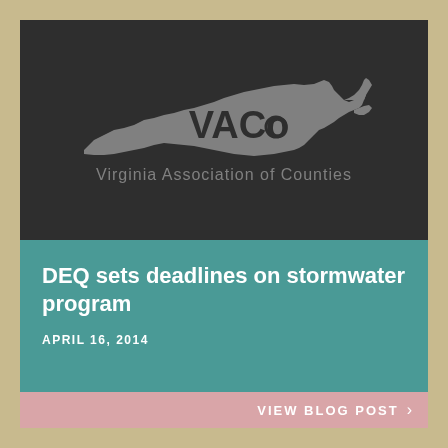[Figure (logo): Virginia Association of Counties (VACo) logo — outline of Virginia state map in gray with 'VACo' text inside and 'Virginia Association of Counties' text below, on dark background]
DEQ sets deadlines on stormwater program
APRIL 16, 2014
VIEW BLOG POST >